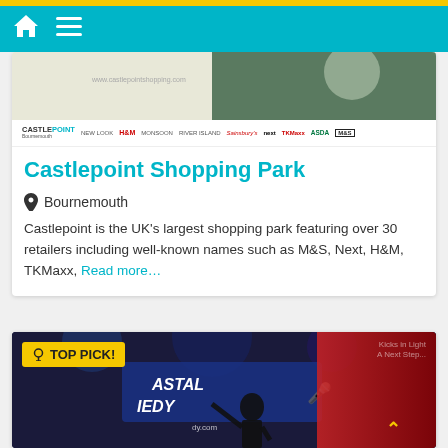Navigation bar with home and menu icons
[Figure (screenshot): Castlepoint Shopping Park hero banner image with retailer logos strip showing CASTLEPOINT, New Look, H&M, Monsoon, River Island, Sainsbury's, next, TKMaxx, ASDA, M&S]
Castlepoint Shopping Park
Bournemouth
Castlepoint is the UK's largest shopping park featuring over 30 retailers including well-known names such as M&S, Next, H&M, TKMaxx, Read more…
[Figure (photo): Bottom card showing a TOP PICK! badge in yellow, comedy show performer on stage with Coastal Comedy branding visible, red curtain on right side]